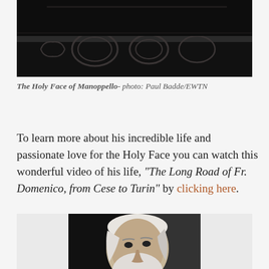[Figure (photo): Dark image showing an ornate carved wooden or stone panel with decorative circular motifs, partially visible at top of page]
The Holy Face of Manoppello- photo: Paul Badde/EWTN
To learn more about his incredible life and passionate love for the Holy Face you can watch this wonderful video of his life, “The Long Road of Fr. Domenico, from Cese to Turin” by clicking here.
[Figure (photo): Black and white portrait photograph of an elderly bearded man with white hair, looking slightly upward]